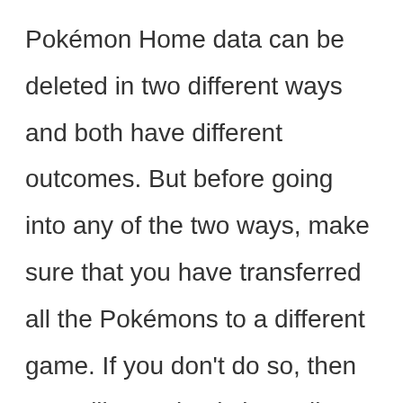Pokémon Home data can be deleted in two different ways and both have different outcomes. But before going into any of the two ways, make sure that you have transferred all the Pokémons to a different game. If you don't do so, then you will completely lose all your Pokémons. Getting good Pokémons is generally not easy in any Pokémon titles, so it is better